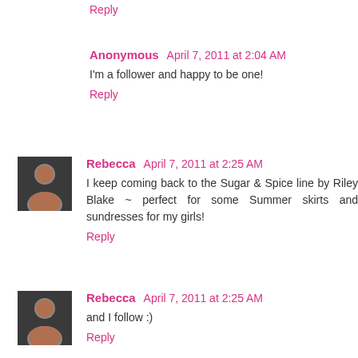Reply
Anonymous  April 7, 2011 at 2:04 AM
I'm a follower and happy to be one!
Reply
Rebecca  April 7, 2011 at 2:25 AM
I keep coming back to the Sugar & Spice line by Riley Blake ~ perfect for some Summer skirts and sundresses for my girls!
Reply
Rebecca  April 7, 2011 at 2:25 AM
and I follow :)
Reply